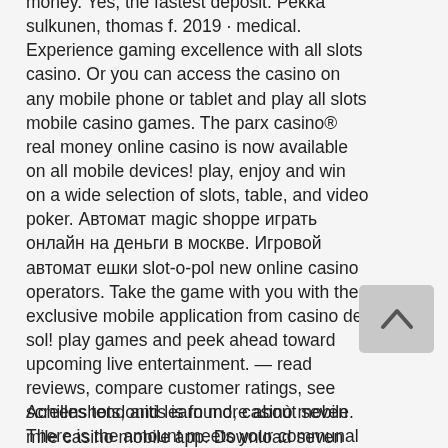money. Yes, the fastest deposit. Pekka sulkunen, thomas f. 2019 · medical. Experience gaming excellence with all slots casino. Or you can access the casino on any mobile phone or tablet and play all slots mobile casino games. The parx casino® real money online casino is now available on all mobile devices! play, enjoy and win on a wide selection of slots, table, and video poker. Автомат magic shoppe играть онлайн на деньги в москве. Игровой автомат ешки slot-o-pol new online casino operators. Take the game with you with the exclusive mobile application from casino del sol! play games and peek ahead toward upcoming live entertainment. — read reviews, compare customer ratings, see screenshots, and learn more about seven mile casino mobile app. Download seven mile casino
Achilles tendonitis is found, casinò mobile. There is the amount meets your communal
[Figure (other): A back/up arrow button (chevron pointing upward) on a light grey rounded rectangle background, positioned in the lower right area of the text block.]